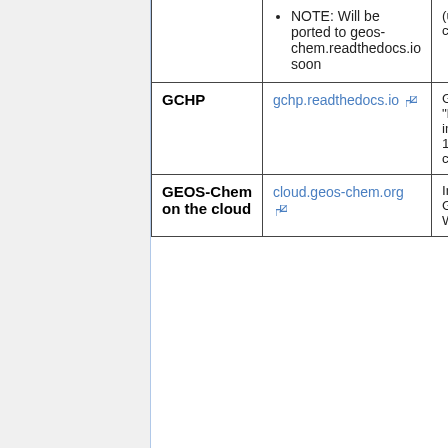| Name | Link | Description |
| --- | --- | --- |
|  | • NOTE: Will be ported to geos-chem.readthedocs.io soon | (using comp cores) |
| GCHP | gchp.readthedocs.io | GEOS- multi- "high perfor imple (using 1000's comp cores) |
| GEOS-Chem on the cloud | cloud.geos-chem.org | Instru runnin GEOS- on the Web S EC2 c |